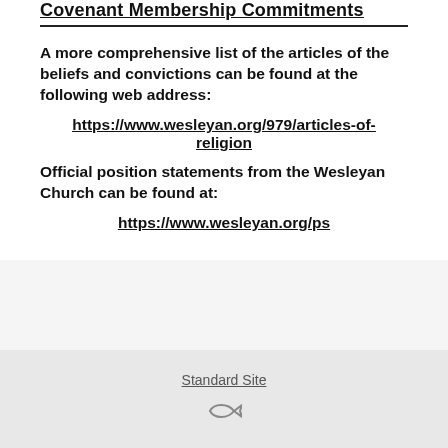Covenant Membership Commitments
A more comprehensive list of the articles of the beliefs and convictions can be found at the following web address:
https://www.wesleyan.org/979/articles-of-religion
Official position statements from the Wesleyan Church can be found at:
https://www.wesleyan.org/ps
Standard Site